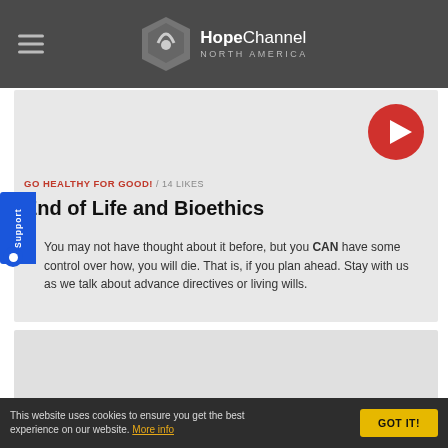HopeChannel NORTH AMERICA
[Figure (screenshot): Video thumbnail placeholder — light gray area with red play button in top-right corner]
GO HEALTHY FOR GOOD! / 14 LIKES
End of Life and Bioethics
You may not have thought about it before, but you CAN have some control over how, you will die. That is, if you plan ahead. Stay with us as we talk about advance directives or living wills.
[Figure (screenshot): Second video thumbnail placeholder — light gray area]
This website uses cookies to ensure you get the best experience on our website. More info
GOT IT!